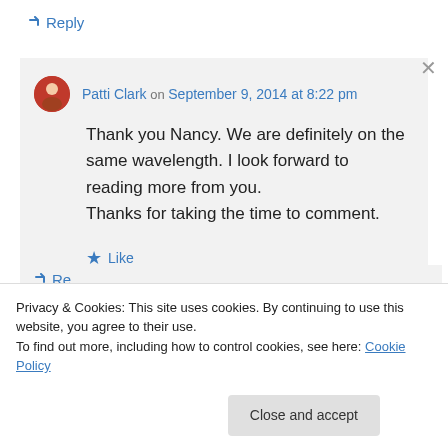↳ Reply
Patti Clark on September 9, 2014 at 8:22 pm
Thank you Nancy. We are definitely on the same wavelength. I look forward to reading more from you.
Thanks for taking the time to comment.
★ Like
↳ Reply
Privacy & Cookies: This site uses cookies. By continuing to use this website, you agree to their use.
To find out more, including how to control cookies, see here: Cookie Policy
Close and accept